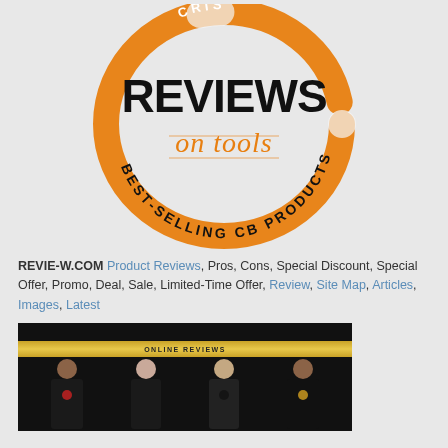[Figure (logo): Reviews on Tools logo — circular orange brushstroke ring with 'REVIEWS' in large bold black text, 'on tools' in orange script, and arc text reading 'BEST-SELLING CB PRODUCTS' along the bottom of the ring, with 'CRIS' visible at the top.]
REVIE-W.COM Product Reviews, Pros, Cons, Special Discount, Special Offer, Promo, Deal, Sale, Limited-Time Offer, Review, Site Map, Articles, Images, Latest
[Figure (photo): Four people in formal black attire standing against a dark background, with a gold banner above them reading 'ONLINE REVIEWS'.]